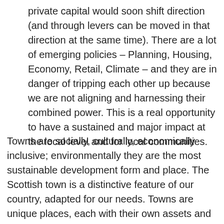private capital would soon shift direction (and through levers can be moved in that direction at the same time). There are a lot of emerging policies – Planning, Housing, Economy, Retail, Climate – and they are in danger of tripping each other up because we are not aligning and harnessing their combined power. This is a real opportunity to have a sustained and major impact at the local level and for local communities.
Towns are socially, culturally, economically inclusive; environmentally they are the most sustainable development form and place. The Scottish town is a distinctive feature of our country, adapted for our needs. Towns are unique places, each with their own assets and opportunities. We need leadership and direction to harness their local potential. However, we have neglected